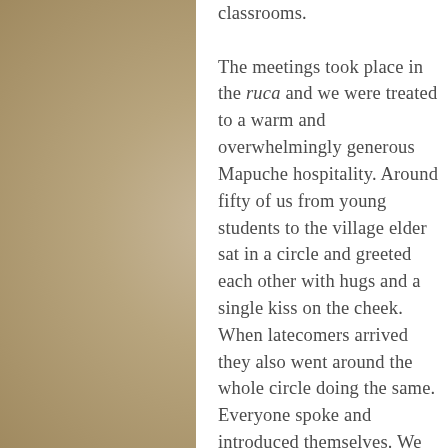classrooms. The meetings took place in the ruca and we were treated to a warm and overwhelmingly generous Mapuche hospitality. Around fifty of us from young students to the village elder sat in a circle and greeted each other with hugs and a single kiss on the cheek. When latecomers arrived they also went around the whole circle doing the same. Everyone spoke and introduced themselves. We were left with a warm, affectionate glow and a